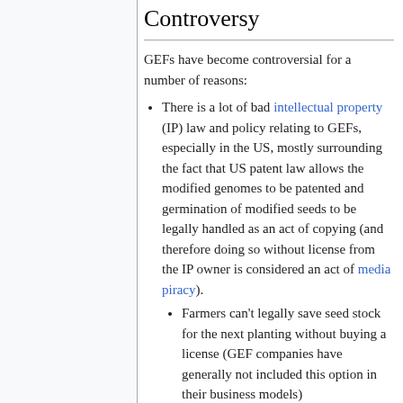Controversy
GEFs have become controversial for a number of reasons:
There is a lot of bad intellectual property (IP) law and policy relating to GEFs, especially in the US, mostly surrounding the fact that US patent law allows the modified genomes to be patented and germination of modified seeds to be legally handled as an act of copying (and therefore doing so without license from the IP owner is considered an act of media piracy).
Farmers can't legally save seed stock for the next planting without buying a license (GEF companies have generally not included this option in their business models)